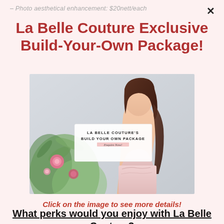– Photo aesthetical enhancement: $20nett/each
La Belle Couture Exclusive Build-Your-Own Package!
[Figure (photo): Promotional photo for La Belle Couture's Build Your Own Package, showing a woman in a pink dress with floral arrangements on the left and an overlay text card reading 'LA BELLE COUTURE'S BUILD YOUR OWN PACKAGE – Enquire Now!']
Click on the image to see more details!
What perks would you enjoy with La Belle Couture?